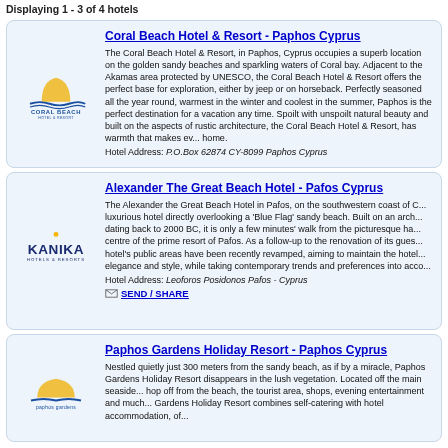Displaying 1 - 3 of 4 hotels
Coral Beach Hotel & Resort - Paphos Cyprus
The Coral Beach Hotel & Resort, in Paphos, Cyprus occupies a superb location on the golden sandy beaches and sparkling waters of Coral bay. Adjacent to the Akamas area protected by UNESCO, the Coral Beach Hotel & Resort offers the perfect base for exploration, either by jeep or on horseback. Perfectly seasoned all the year round, warmest in the winter and coolest in the summer, Paphos is the perfect destination for a vacation any time. Spoilt with unspoilt natural beauty and built on the aspects of rustic architecture, the Coral Beach Hotel & Resort, has warmth that makes everyone feel at home.
Hotel Address: P.O.Box 62874 CY-8099 Paphos Cyprus
SEND / SHARE
Alexander The Great Beach Hotel - Pafos Cyprus
The Alexander the Great Beach Hotel in Pafos, on the southwestern coast of Cyprus, is a luxurious hotel directly overlooking a 'Blue Flag' sandy beach. Built on an archaeological site dating back to 2000 BC, it is only a few minutes' walk from the picturesque harbour and the centre of the prime resort of Pafos. As a follow-up to the renovation of its guest rooms, the hotel's public areas have been recently revamped, aiming to maintain the hotel's traditional elegance and style, while taking contemporary trends and preferences into account.
Hotel Address: Leoforos Posidonos Pafos - Cyprus
SEND / SHARE
Paphos Gardens Holiday Resort - Paphos Cyprus
Nestled quietly just 300 meters from the sandy beach, as if by a miracle, Paphos Gardens Holiday Resort disappears in the lush vegetation. Located off the main seaside road, a short hop off from the beach, the tourist area, shops, evening entertainment and much more, Paphos Gardens Holiday Resort combines self-catering with hotel accommodation, of...